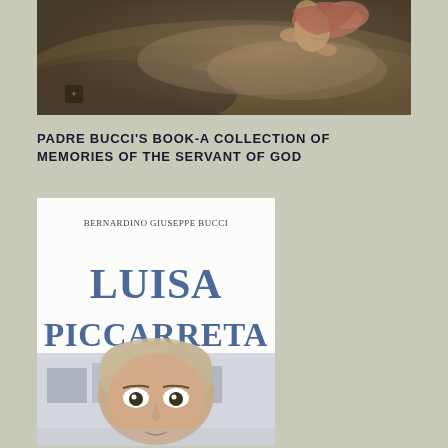[Figure (photo): Religious painting showing a cherub or infant figure floating in clouds with dramatic lighting, muted dark tones]
PADRE BUCCI'S BOOK-A COLLECTION OF MEMORIES OF THE SERVANT OF GOD
[Figure (photo): Book cover of 'Luisa Piccarreta' by Bernardino Giuseppe Bucci, showing a woman's face with wide eyes and the text 'LUISA PICCARRETA' in large blue letters on a white background]